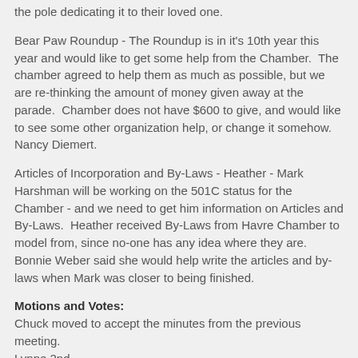the pole dedicating it to their loved one.
Bear Paw Roundup - The Roundup is in it's 10th year this year and would like to get some help from the Chamber.  The chamber agreed to help them as much as possible, but we are re-thinking the amount of money given away at the parade.  Chamber does not have $600 to give, and would like to see some other organization help, or change it somehow.  Nancy Diemert.
Articles of Incorporation and By-Laws - Heather - Mark Harshman will be working on the 501C status for the Chamber - and we need to get him information on Articles and By-Laws.  Heather received By-Laws from Havre Chamber to model from, since no-one has any idea where they are.  Bonnie Weber said she would help write the articles and by-laws when Mark was closer to being finished.
Motions and Votes:
Chuck moved to accept the minutes from the previous meeting.
Lynne 2nd.
Max moved to give Jay approval to decide on plans for the Chamber Banquet.
Chuck 2nd.